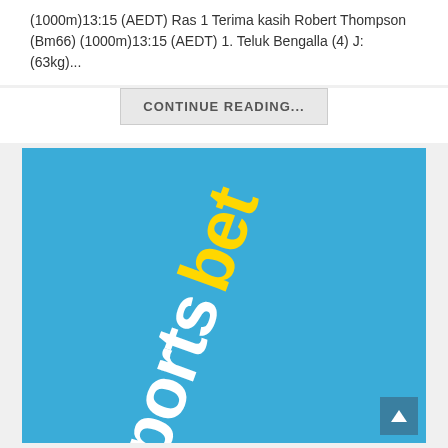(1000m)13:15 (AEDT) Ras 1 Terima kasih Robert Thompson (Bm66) (1000m)13:15 (AEDT) 1. Teluk Bengalla (4) J: (63kg)...
CONTINUE READING...
[Figure (logo): Sportsbet logo on a blue background. The word 'sportsbet' is displayed diagonally/rotated, with 'sports' in white and 'bet' in yellow, on a bright sky-blue background.]